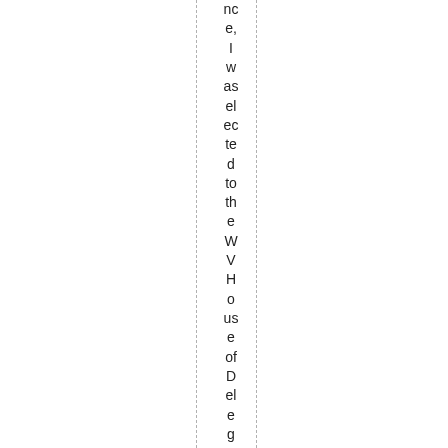nce, I was elected to the WVHouse of Delegates in 1974,